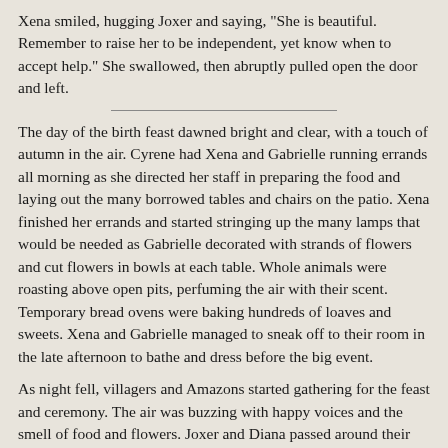Xena smiled, hugging Joxer and saying, "She is beautiful. Remember to raise her to be independent, yet know when to accept help." She swallowed, then abruptly pulled open the door and left.
The day of the birth feast dawned bright and clear, with a touch of autumn in the air. Cyrene had Xena and Gabrielle running errands all morning as she directed her staff in preparing the food and laying out the many borrowed tables and chairs on the patio. Xena finished her errands and started stringing up the many lamps that would be needed as Gabrielle decorated with strands of flowers and cut flowers in bowls at each table. Whole animals were roasting above open pits, perfuming the air with their scent. Temporary bread ovens were baking hundreds of loaves and sweets. Xena and Gabrielle managed to sneak off to their room in the late afternoon to bathe and dress before the big event.
As night fell, villagers and Amazons started gathering for the feast and ceremony. The air was buzzing with happy voices and the smell of food and flowers. Joxer and Diana passed around their baby to the village women, agreeing with the general assessment that she would grow up to be a beauty. After the main course was finished, Cyrene stood up on the small stage and called out, "May I have your attention please? It is time for the ceremony to begin. Dorcas, the priestess of the Amazons, will lead the ceremony."